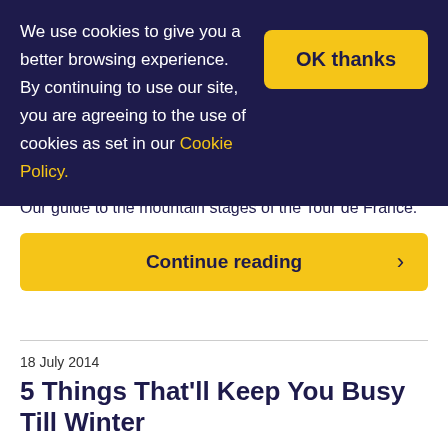We use cookies to give you a better browsing experience. By continuing to use our site, you are agreeing to the use of cookies as set in our Cookie Policy.
OK thanks
Our guide to the mountain stages of the Tour de France.
Continue reading ›
18 July 2014
5 Things That'll Keep You Busy Till Winter
Getting through a hot and snowless summer can be really tough if you're a big skier or snowboarder so here's few